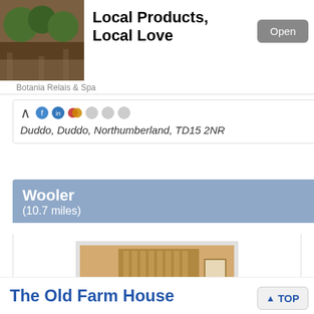[Figure (photo): Ad banner with outdoor restaurant/garden image for Botania Relais & Spa]
Local Products, Local Love
Open
Botania Relais & Spa
Duddo, Duddo, Northumberland, TD15 2NR
Wooler
(10.7 miles)
[Figure (photo): Hotel bedroom with ornate wooden headboard, white pillows and bedding, warm yellow walls]
The Old Farm House
TOP